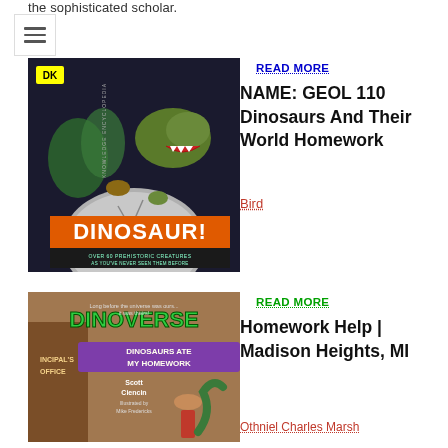the sophisticated scholar.
[Figure (illustration): DK Knowledge Encyclopedia Dinosaur! book cover featuring dinosaurs emerging from a cracking egg]
READ MORE
NAME: GEOL 110 Dinosaurs And Their World Homework
Bird
[Figure (illustration): Dinoverse: Dinosaurs Ate My Homework book cover by Scott Ciencin, featuring a girl in front of a principal's office with a dinosaur]
READ MORE
Homework Help | Madison Heights, MI
Othniel Charles Marsh